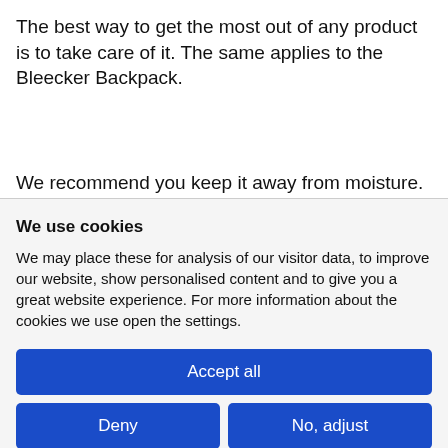The best way to get the most out of any product is to take care of it. The same applies to the Bleecker Backpack.
We recommend you keep it away from moisture. If
We use cookies
We may place these for analysis of our visitor data, to improve our website, show personalised content and to give you a great website experience. For more information about the cookies we use open the settings.
Accept all
Deny
No, adjust